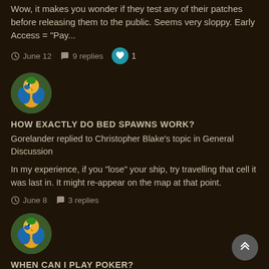Wow, it makes you wonder if they test any of their patches before releasing them to the public. Seems very sloppy. Early Access = "Pay...
June 12   9 replies   1
[Figure (illustration): Circular avatar of a blue and yellow macaw parrot]
HOW EXACTLY DO BED SPAWNS WORK?
Gorelander replied to Christopher Blake's topic in General Discussion
In my experience, if you "lose" your ship, try travelling that cell it was last in. It might re-appear on the map at that point.
June 8   3 replies
[Figure (illustration): Circular avatar of a blue and yellow macaw parrot]
WHEN CAN I PLAY POKER?
Gorelander replied to BaldursThones's topic in General Discussion